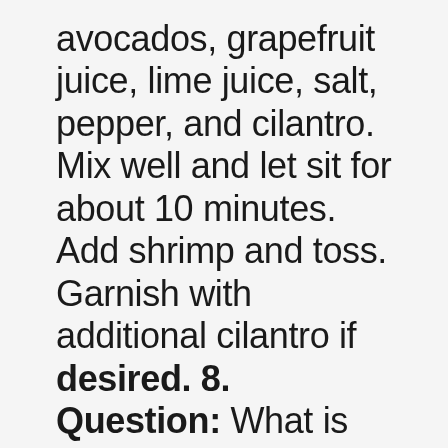avocados, grapefruit juice, lime juice, salt, pepper, and cilantro. Mix well and let sit for about 10 minutes. Add shrimp and toss. Garnish with additional cilantro if desired. 8. Question: What is the difference between a crockpot and a slow cooker?